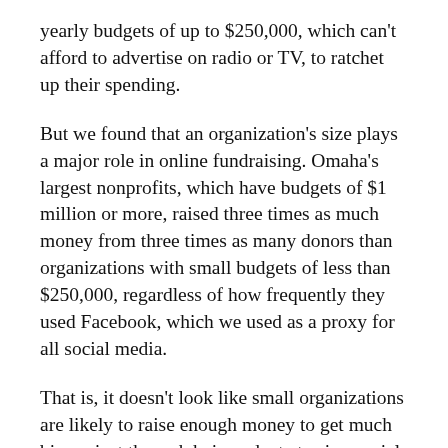yearly budgets of up to $250,000, which can't afford to advertise on radio or TV, to ratchet up their spending.
But we found that an organization's size plays a major role in online fundraising. Omaha's largest nonprofits, which have budgets of $1 million or more, raised three times as much money from three times as many donors than organizations with small budgets of less than $250,000, regardless of how frequently they used Facebook, which we used as a proxy for all social media.
That is, it doesn't look like small organizations are likely to raise enough money to get much bigger just through being adept at using social media. We believe that because large organizations have larger budgets, they can afford to do a better job with their online fundraising campaigns and have a social media strategy to plan.